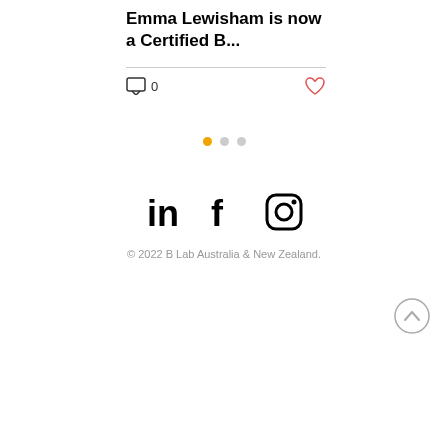Emma Lewisham is now a Certified B...
0
[Figure (infographic): Carousel pagination dots: one active gold dot and two inactive grey dots]
[Figure (infographic): Social media icons: LinkedIn, Facebook, Instagram in black]
© 2022 B Lab Australia & New Zealand.
[Figure (other): Back to top button: circle with upward chevron]